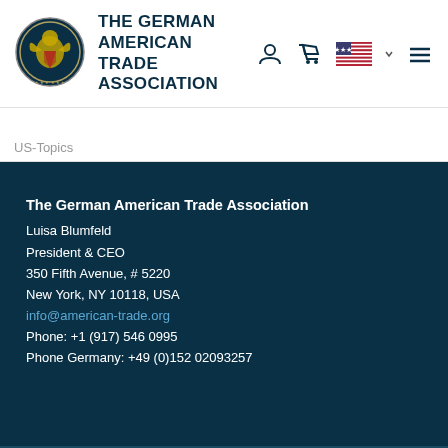[Figure (logo): The German American Trade Association circular seal logo with eagle emblem]
THE GERMAN AMERICAN TRADE ASSOCIATION
[Figure (other): Navigation icons: user account, shopping cart, US flag with dropdown, hamburger menu]
US-Topics
The German American Trade Association
Luisa Blumfeld
President & CEO
350 Fifth Avenue, # 5220
New York, NY 10118, USA
info@american-trade.org
Phone: +1 (917) 546 0995
Phone Germany: +49 (0)152 02093257